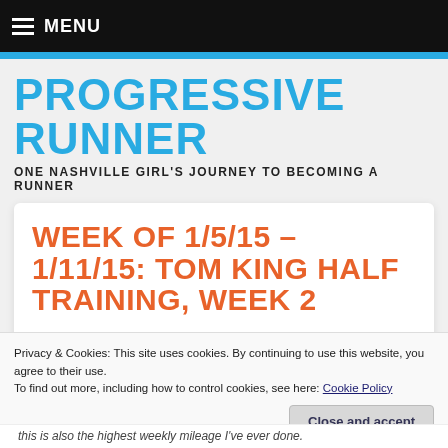≡ MENU
PROGRESSIVE RUNNER
ONE NASHVILLE GIRL'S JOURNEY TO BECOMING A RUNNER
WEEK OF 1/5/15 – 1/11/15: TOM KING HALF TRAINING, WEEK 2
Privacy & Cookies: This site uses cookies. By continuing to use this website, you agree to their use.
To find out more, including how to control cookies, see here: Cookie Policy
this is also the highest weekly mileage I've ever done.